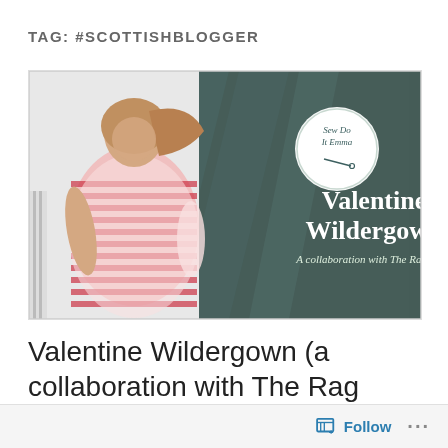TAG: #SCOTTISHBLOGGER
[Figure (photo): Blog post banner image showing a woman in a red and white striped dress on the left half, and on the right half a teal/dark green brushstroke background with copper/brown wood texture. A circular logo reads 'Sew Do It Emma' with a needle icon. Large white serif text reads 'Valentine Wildergown' with italic subtitle 'A collaboration with The Rag Shop']
Valentine Wildergown (a collaboration with The Rag Shop).
Follow ...